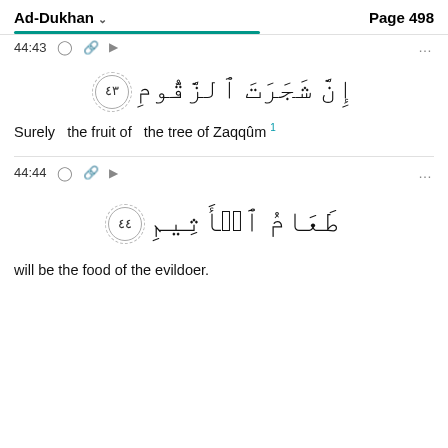Ad-Dukhan   Page 498
44:43
إِنَّ شَجَرَتَ ٱلزَّقُّومِ ﴿٤٣﴾
Surely   the fruit of   the tree of Zaqqûm
44:44
طَعَامُ ٱلۡأَثِيمِ ﴿٤٤﴾
will be the food of the evildoer.